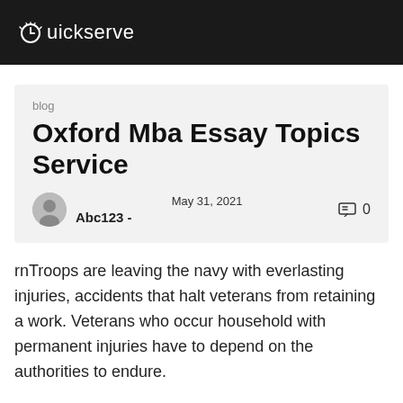Quickserve
blog
Oxford Mba Essay Topics Service
Abc123 - May 31, 2021  0
rnTroops are leaving the navy with everlasting injuries, accidents that halt veterans from retaining a work. Veterans who occur household with permanent injuries have to depend on the authorities to endure.